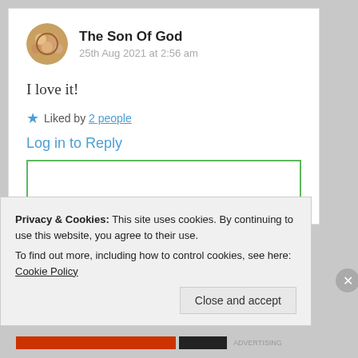The Son Of God
25th Aug 2021 at 2:56 am
I love it!
Liked by 2 people
Log in to Reply
Privacy & Cookies: This site uses cookies. By continuing to use this website, you agree to their use.
To find out more, including how to control cookies, see here: Cookie Policy
Close and accept